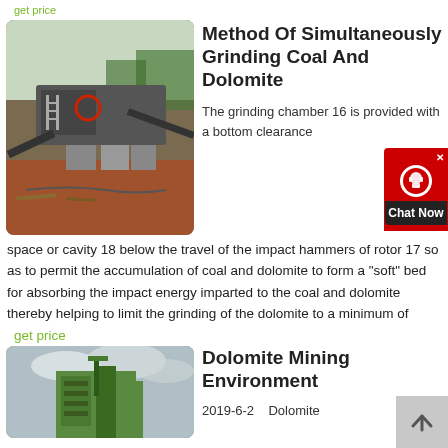get price
[Figure (photo): Industrial coal/dolomite crushing and grinding machinery at an outdoor mining site, with conveyor belts, large metal structures on concrete pads, red circular element visible, surrounded by red soil and trees.]
Method Of Simultaneously Grinding Coal And Dolomite
The grinding chamber 16 is provided with a bottom clearance space or cavity 18 below the travel of the impact hammers of rotor 17 so as to permit the accumulation of coal and dolomite to form a "soft" bed for absorbing the impact energy imparted to the coal and dolomite thereby helping to limit the grinding of the dolomite to a minimum of
get price
[Figure (photo): Dolomite mining environment showing large green industrial machinery against a cloudy sky.]
Dolomite Mining Environment
2019-6-2   Dolomite